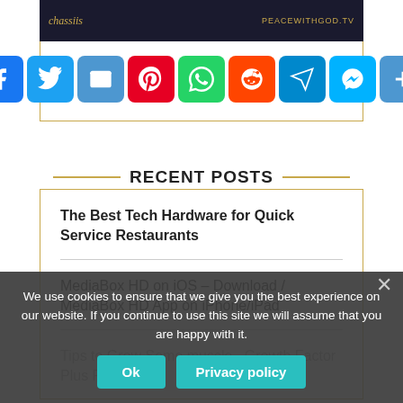[Figure (screenshot): Video thumbnail showing a person in a dark background with brand text 'chassiis' on the left and 'peaceWithgod.tv' on the right]
[Figure (infographic): Row of social media share icons: Facebook, Twitter, Email, Pinterest, WhatsApp, Reddit, Telegram, Messenger, Share more]
RECENT POSTS
The Best Tech Hardware for Quick Service Restaurants
MediaBox HD on iOS – Download / MediaBox HD App on iPhone/iPad
Tips to Grow S... owth Factor Plus Pills
We use cookies to ensure that we give you the best experience on our website. If you continue to use this site we will assume that you are happy with it.